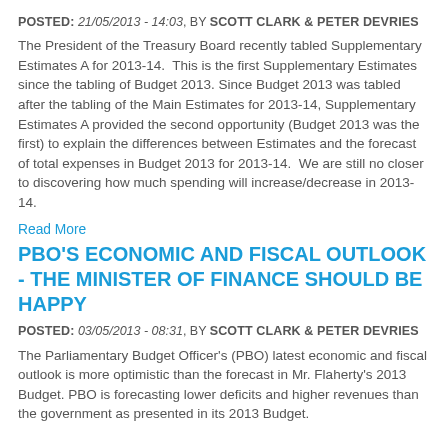POSTED: 21/05/2013 - 14:03, BY SCOTT CLARK & PETER DEVRIES
The President of the Treasury Board recently tabled Supplementary Estimates A for 2013-14. This is the first Supplementary Estimates since the tabling of Budget 2013. Since Budget 2013 was tabled after the tabling of the Main Estimates for 2013-14, Supplementary Estimates A provided the second opportunity (Budget 2013 was the first) to explain the differences between Estimates and the forecast of total expenses in Budget 2013 for 2013-14. We are still no closer to discovering how much spending will increase/decrease in 2013-14.
Read More
PBO'S ECONOMIC AND FISCAL OUTLOOK - THE MINISTER OF FINANCE SHOULD BE HAPPY
POSTED: 03/05/2013 - 08:31, BY SCOTT CLARK & PETER DEVRIES
The Parliamentary Budget Officer's (PBO) latest economic and fiscal outlook is more optimistic than the forecast in Mr. Flaherty's 2013 Budget. PBO is forecasting lower deficits and higher revenues than the government as presented in its 2013 Budget.